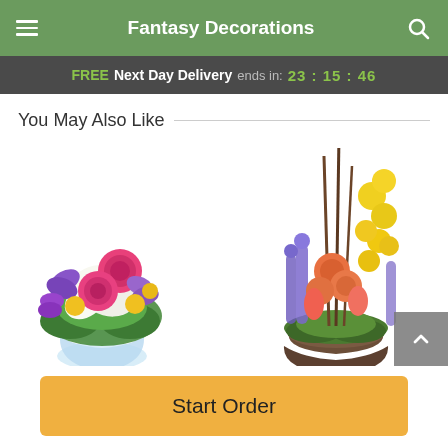Fantasy Decorations
FREE Next Day Delivery ends in: 23:15:46
You May Also Like
[Figure (photo): Left: Round bouquet with pink roses, white lilies, purple orchids, and yellow flowers in a glass vase. Right: Tall spring arrangement with orange roses, yellow daffodils, purple hyacinths, and green foliage in a decorative pot.]
Start Order